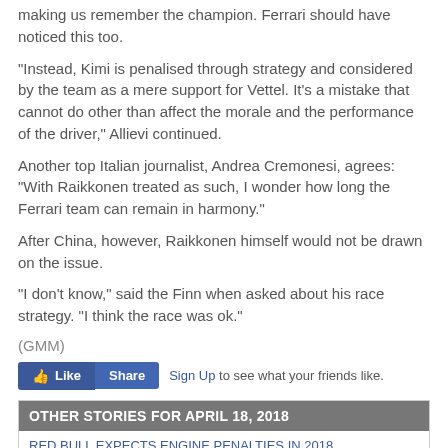making us remember the champion. Ferrari should have noticed this too.
"Instead, Kimi is penalised through strategy and considered by the team as a mere support for Vettel. It's a mistake that cannot do other than affect the morale and the performance of the driver," Allievi continued.
Another top Italian journalist, Andrea Cremonesi, agrees: "With Raikkonen treated as such, I wonder how long the Ferrari team can remain in harmony."
After China, however, Raikkonen himself would not be drawn on the issue.
"I don't know," said the Finn when asked about his race strategy. "I think the race was ok."
(GMM)
[Figure (other): Facebook Like and Share buttons with Sign Up link]
OTHER STORIES FOR APRIL 18, 2018
RED BULL EXPECTS ENGINE PENALTIES IN 2018
RAIKKONEN NOT TREATED FAIRLY AT FERRARI?